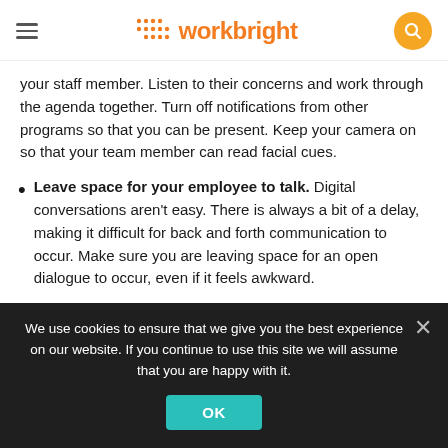workbright
your staff member. Listen to their concerns and work through the agenda together. Turn off notifications from other programs so that you can be present. Keep your camera on so that your team member can read facial cues.
Leave space for your employee to talk. Digital conversations aren't easy. There is always a bit of a delay, making it difficult for back and forth communication to occur. Make sure you are leaving space for an open dialogue to occur, even if it feels awkward.
We use cookies to ensure that we give you the best experience on our website. If you continue to use this site we will assume that you are happy with it.